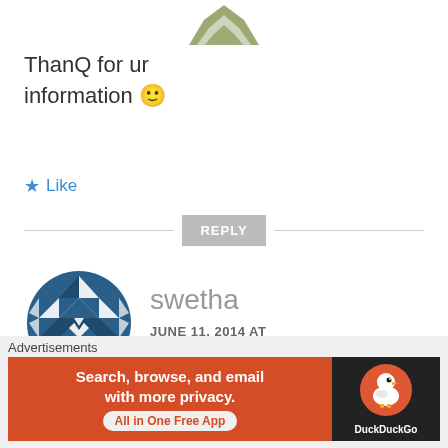[Figure (illustration): Partial view of a geometric/floral avatar icon at the top, cropped]
ThanQ for ur information 🙂
★ Like
REPLY
[Figure (illustration): Round geometric pattern avatar for user swetha, dark blue diamond/triangles pattern]
swetha
JUNE 11, 2014 AT 8:59 PM
u r welcome
Advertisements
[Figure (screenshot): DuckDuckGo advertisement banner: orange left side with text 'Search, browse, and email with more privacy. All in One Free App' and dark right side with DuckDuckGo duck logo]